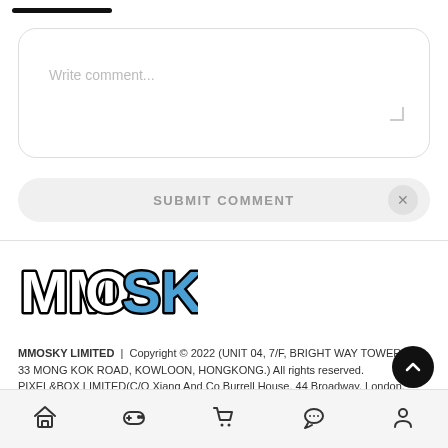[Figure (screenshot): Progress bar or top bar indicator, black rounded rectangle]
Write comment...
SUBMIT COMMENT
[Figure (logo): MMOSKY logo — chunky block letters, MMO in white with black outline, SKY in blue with black outline]
MMOSKY LIMITED | Copyright © 2022 (UNIT 04, 7/F, BRIGHT WAY TOWER, NO. 33 MONG KOK ROAD, KOWLOON, HONGKONG.) All rights reserved. PIXEL&BOX LIMITED(C/O Xiang And Co Burrell House, 44 Broadway, London, United Kingdom, E15 1XH) Registered Names and Trademarks are the copyright and property of their
[Figure (screenshot): Bottom navigation bar with icons: home, game controller, shopping cart, chat bubble, person]